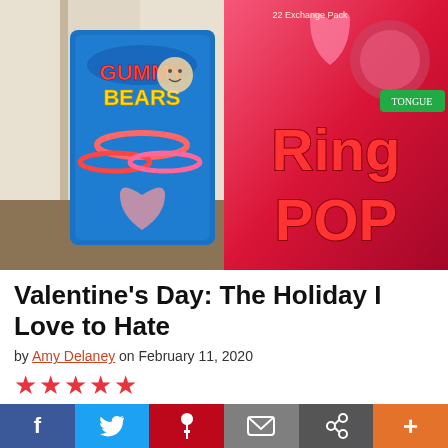[Figure (photo): Photo of two Valentine's Day candy boxes side by side: a blue Gummy Bears box on the left and a pink/red Ring Pop box on the right]
Valentine's Day: The Holiday I Love to Hate
by Amy Delaney on February 11, 2020
★★★★★
When ranking the best holidays, Valentine's Day has always been near the very bottom for me. My love/hate relationship with this lovely holiday began way back in high school. I was never the girl